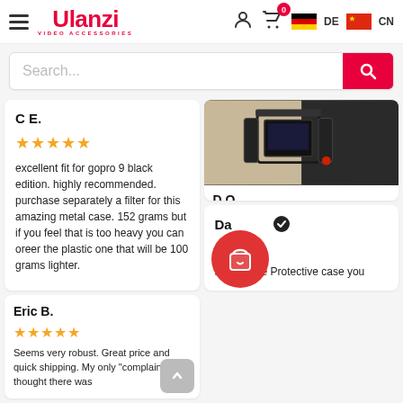[Figure (screenshot): Ulanzi website header with logo, navigation icons, German and Chinese language flags]
[Figure (screenshot): Search bar with pink magnifying glass button]
C E.
★★★★★
excellent fit for gopro 9 black edition. highly recommended. purchase separately a filter for this amazing metal case. 152 grams but if you feel that is too heavy you can oreer the plastic one that will be 100 grams lighter.
[Figure (photo): Camera cage product photo showing GoPro Hero 9 in metal cage with red accents]
D O.
★★★★★
Cage Super, GoPro Hero 9 black perfectly fit
Da [shopping bag icon overlay]
★★
Really nice Protective case you
Eric B.
★★★★★
Seems very robust. Great price and quick shipping. My only "complaint" is I thought there was